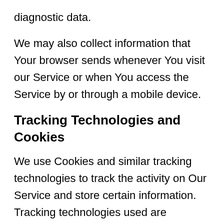diagnostic data.
We may also collect information that Your browser sends whenever You visit our Service or when You access the Service by or through a mobile device.
Tracking Technologies and Cookies
We use Cookies and similar tracking technologies to track the activity on Our Service and store certain information. Tracking technologies used are beacons, tags, and scripts to collect and track information and to improve and analyze Our Service. The technologies We use may include:
Cookies or Browser Cookies. A cookie is a small file placed on Your Device. You...